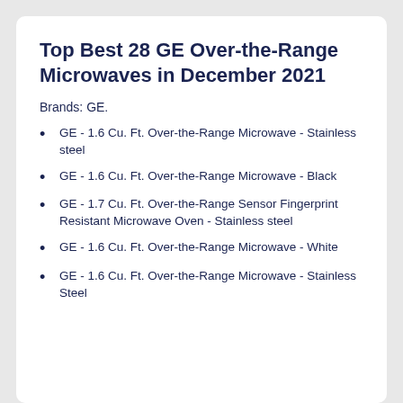Top Best 28 GE Over-the-Range Microwaves in December 2021
Brands: GE.
GE - 1.6 Cu. Ft. Over-the-Range Microwave - Stainless steel
GE - 1.6 Cu. Ft. Over-the-Range Microwave - Black
GE - 1.7 Cu. Ft. Over-the-Range Sensor Fingerprint Resistant Microwave Oven - Stainless steel
GE - 1.6 Cu. Ft. Over-the-Range Microwave - White
GE - 1.6 Cu. Ft. Over-the-Range Microwave - Stainless Steel